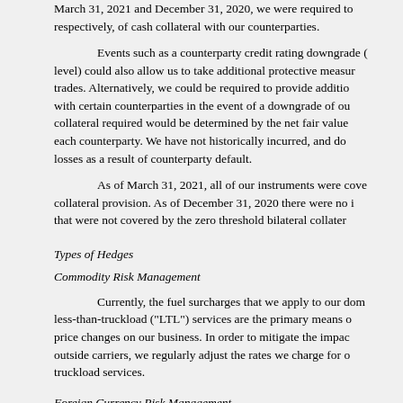March 31, 2021 and December 31, 2020, we were required to post, respectively, of cash collateral with our counterparties.
Events such as a counterparty credit rating downgrade (or a downgrade of our level) could also allow us to take additional protective measures or terminate open trades. Alternatively, we could be required to provide additional collateral to certain counterparties in the event of a downgrade of our credit. The amount of collateral required would be determined by the net fair value of the open positions with each counterparty. We have not historically incurred, and do not anticipate, losses as a result of counterparty default.
As of March 31, 2021, all of our instruments were covered by a zero threshold collateral provision. As of December 31, 2020 there were no instruments outstanding that were not covered by the zero threshold bilateral collateral provision.
Types of Hedges
Commodity Risk Management
Currently, the fuel surcharges that we apply to our domestic package and less-than-truckload ("LTL") services are the primary means of mitigating fuel price changes on our business. In order to mitigate the impact of fuel costs paid to outside carriers, we regularly adjust the rates we charge for our less-than-truckload services.
Foreign Currency Risk Management
To protect against the reduction in value of forecasted foreign currency cash flows from our international package business, we maintain a foreign currency risk management program. Our most significant foreign currency exposures relate to the Euro